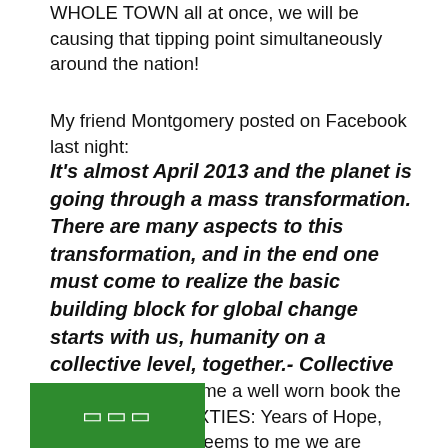WHOLE TOWN all at once, we will be causing that tipping point simultaneously around the nation!
My friend Montgomery posted on Facebook last night:
It's almost April 2013 and the planet is going through a mass transformation. There are many aspects to this transformation, and in the end one must come to realize the basic building block for global change starts with us, humanity on a collective level, together.- Collective Evolution
My husband gave me a well worn book the other day, "The SIXTIES: Years of Hope, Days of Rage". It seems to me we are mimicking those times in many ways...they had "Pranksters" just like "Anonymous" they had a women's uprising and Gloria Steinmen like we have Vandana Shiva. They had war (with the involvement of [a] chemical company today, Monsanto) and [grassroots] community groups like we did with Prop 37